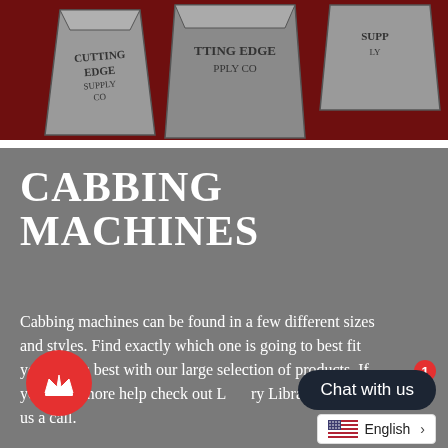[Figure (illustration): Cutting Edge Supply Co branded paper bags illustration on dark red background]
CABBING MACHINES
Cabbing machines can be found in a few different sizes and styles. Find exactly which one is going to best fit your needs best with our large selection of products. If you need more help check out Library or give us a call.